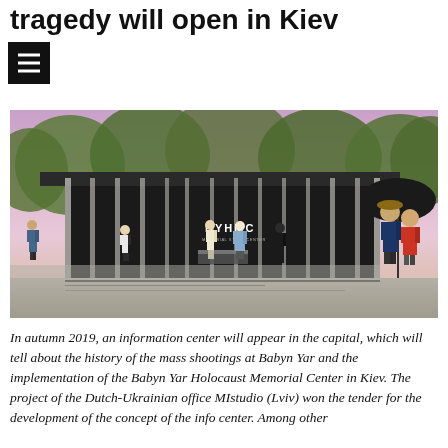tragedy will open in Kiev
[Figure (photo): Architectural rendering of the Babyn Yar Holocaust Memorial Center (BYHMC) - a modern glass and dark panel pavilion structure surrounded by trees, with people visible inside and outside. A couple with an umbrella is visible on the right side.]
In autumn 2019, an information center will appear in the capital, which will tell about the history of the mass shootings at Babyn Yar and the implementation of the Babyn Yar Holocaust Memorial Center in Kiev. The project of the Dutch-Ukrainian office MIstudio (Lviv) won the tender for the development of the concept of the info center. Among other